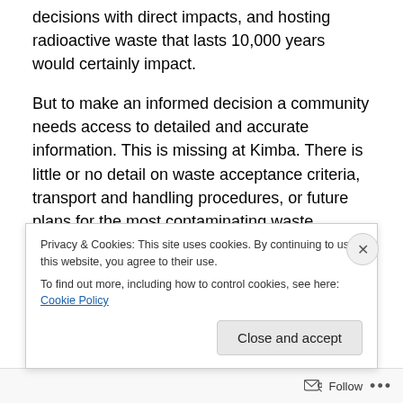decisions with direct impacts, and hosting radioactive waste that lasts 10,000 years would certainly impact.
But to make an informed decision a community needs access to detailed and accurate information. This is missing at Kimba. There is little or no detail on waste acceptance criteria, transport and handling procedures, or future plans for the most contaminating waste.
The community is effectively being asked to give a blanket approval to a concept, not measured consideration of a specific proposal.
Privacy & Cookies: This site uses cookies. By continuing to use this website, you agree to their use.
To find out more, including how to control cookies, see here: Cookie Policy